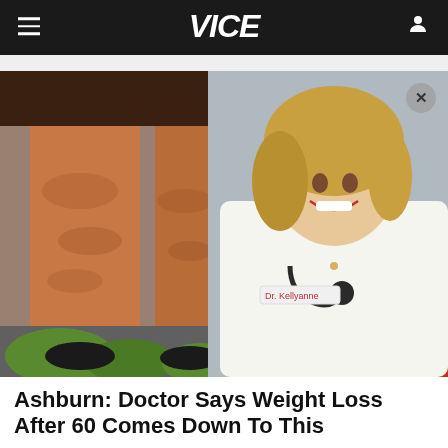VICE
[Figure (photo): Advertisement image showing close-up of a person's legs with cellulite on the left, and an overlaid photo of a smiling female doctor in a white coat with a stethoscope on the right. A close/X button appears in the upper right corner of the image.]
Ashburn: Doctor Says Weight Loss After 60 Comes Down To This
Advertisement: dkawellness.com